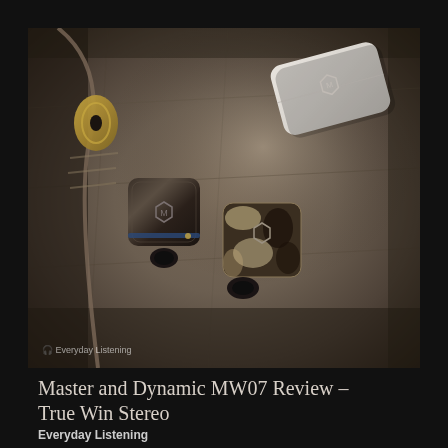[Figure (photo): Two Master and Dynamic MW07 true wireless earbuds placed on a dark olive/brown fabric jacket near a zipper, with a white charging case visible in the upper right background. The earbuds have a tortoise shell / dark patterned finish. A watermark reads 'Everyday Listening' in the bottom left corner.]
Master and Dynamic MW07 Review – True Win Stereo
Everyday Listening